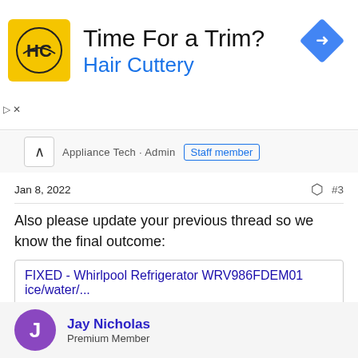[Figure (advertisement): Hair Cuttery ad banner with yellow logo showing HC letters, tagline 'Time For a Trim?' and 'Hair Cuttery' subtitle. Blue diamond arrow icon on right.]
Appliance Tech · Admin  Staff member
Jan 8, 2022  #3
Also please update your previous thread so we know the final outcome:
FIXED - Whirlpool Refrigerator WRV986FDEM01 ice/water/...
I, too, am having issues with the dispenser and interior lights. I've read all the threads but still have questions. So, I unplugged the fridge and disconnected the ui board on the top of the left drawer. Everything functions (except the display, of course) . I assumed UI board was bad, ordered...
www.applianceblog.com
Jake
Jay Nicholas
Premium Member